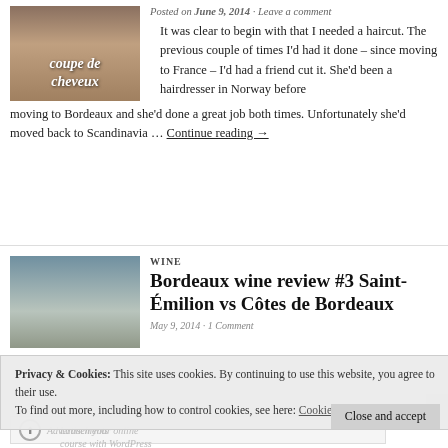[Figure (photo): Photo of a man's face/hair, with italic bold white text overlay reading 'coupe de cheveux']
Posted on June 9, 2014 · Leave a comment
It was clear to begin with that I needed a haircut. The previous couple of times I'd had it done – since moving to France – I'd had a friend cut it. She'd been a hairdresser in Norway before moving to Bordeaux and she'd done a great job both times. Unfortunately she'd moved back to Scandinavia … Continue reading →
[Figure (photo): Photo of a French chateau/winery building with trees under cloudy sky]
WINE
Bordeaux wine review #3 Saint-Émilion vs Côtes de Bordeaux
May 9, 2014 · 1 Comment
Privacy & Cookies: This site uses cookies. By continuing to use this website, you agree to their use.
To find out more, including how to control cookies, see here: Cookie Policy
Advertisements
Launch your online course with WordPress
Close and accept